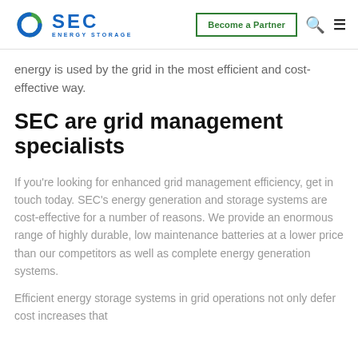SEC Energy Storage — Become a Partner
energy is used by the grid in the most efficient and cost-effective way.
SEC are grid management specialists
If you're looking for enhanced grid management efficiency, get in touch today. SEC's energy generation and storage systems are cost-effective for a number of reasons. We provide an enormous range of highly durable, low maintenance batteries at a lower price than our competitors as well as complete energy generation systems.
Efficient energy storage systems in grid operations not only defer cost increases that